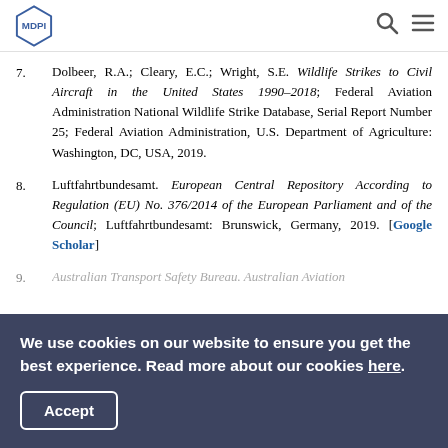MDPI logo with navigation search and menu icons
7. Dolbeer, R.A.; Cleary, E.C.; Wright, S.E. Wildlife Strikes to Civil Aircraft in the United States 1990–2018; Federal Aviation Administration National Wildlife Strike Database, Serial Report Number 25; Federal Aviation Administration, U.S. Department of Agriculture: Washington, DC, USA, 2019.
8. Luftfahrtbundesamt. European Central Repository According to Regulation (EU) No. 376/2014 of the European Parliament and of the Council; Luftfahrtbundesamt: Brunswick, Germany, 2019. [Google Scholar]
9. Australian Transport Safety Bureau. Australian Aviation...
We use cookies on our website to ensure you get the best experience. Read more about our cookies here.
Accept